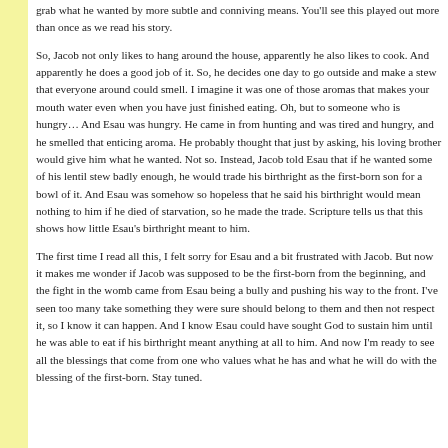grab what he wanted by more subtle and conniving means. You'll see this played out more than once as we read his story.
So, Jacob not only likes to hang around the house, apparently he also likes to cook. And apparently he does a good job of it. So, he decides one day to go outside and make a stew that everyone around could smell. I imagine it was one of those aromas that makes your mouth water even when you have just finished eating. Oh, but to someone who is hungry… And Esau was hungry. He came in from hunting and was tired and hungry, and he smelled that enticing aroma. He probably thought that just by asking, his loving brother would give him what he wanted. Not so. Instead, Jacob told Esau that if he wanted some of his lentil stew badly enough, he would trade his birthright as the first-born son for a bowl of it. And Esau was somehow so hopeless that he said his birthright would mean nothing to him if he died of starvation, so he made the trade. Scripture tells us that this shows how little Esau's birthright meant to him.
The first time I read all this, I felt sorry for Esau and a bit frustrated with Jacob. But now it makes me wonder if Jacob was supposed to be the first-born from the beginning, and the fight in the womb came from Esau being a bully and pushing his way to the front. I've seen too many take something they were sure should belong to them and then not respect it, so I know it can happen. And I know Esau could have sought God to sustain him until he was able to eat if his birthright meant anything at all to him. And now I'm ready to see all the blessings that come from one who values what he has and what he will do with the blessing of the first-born. Stay tuned.